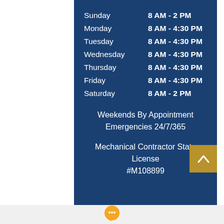| Day | Hours |
| --- | --- |
| Sunday | 8 AM - 2 PM |
| Monday | 8 AM - 4:30 PM |
| Tuesday | 8 AM - 4:30 PM |
| Wednesday | 8 AM - 4:30 PM |
| Thursday | 8 AM - 4:30 PM |
| Friday | 8 AM - 4:30 PM |
| Saturday | 8 AM - 2 PM |
Weekends By Appointment
Emergencies 24/7/365
Mechanical Contractor State License #M108899
[Figure (illustration): Orange chat bubble icon at bottom center]